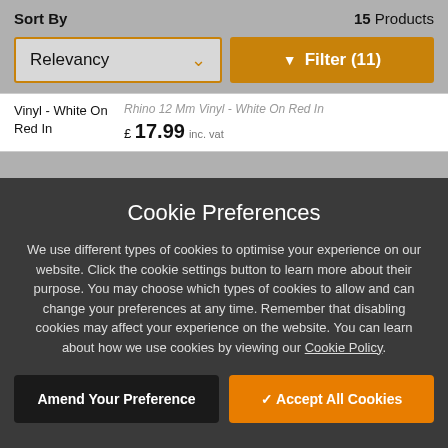Sort By
15 Products
Relevancy
Filter (11)
Vinyl - White On Red In
Rhino 12 Mm Vinyl - White On Red In
£ 17.99 inc. vat
Cookie Preferences
We use different types of cookies to optimise your experience on our website. Click the cookie settings button to learn more about their purpose. You may choose which types of cookies to allow and can change your preferences at any time. Remember that disabling cookies may affect your experience on the website. You can learn about how we use cookies by viewing our Cookie Policy.
Amend Your Preference
Accept All Cookies